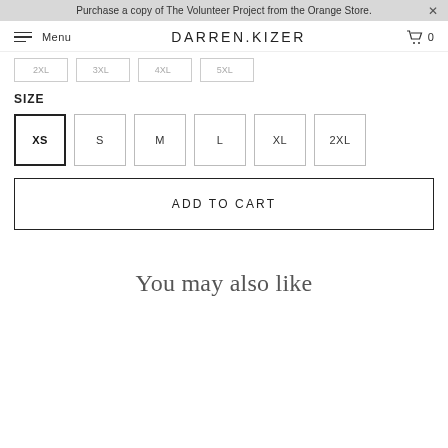Purchase a copy of The Volunteer Project from the Orange Store.
DARREN.KIZER  Menu  0
SIZE
XS  S  M  L  XL  2XL
ADD TO CART
You may also like